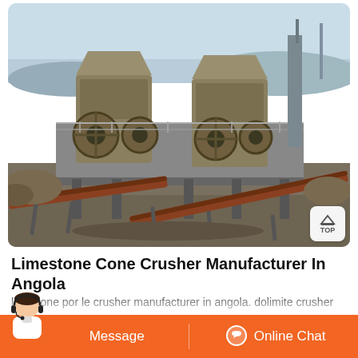[Figure (photo): Outdoor industrial limestone crushing plant with large jaw crushers, conveyor belts, and heavy machinery at a quarry site.]
Limestone Cone Crusher Manufacturer In Angola
limestone por le crusher manufacturer in angola. dolimite crusher manufacturer in angola in saudi arabia 2021 3 11 dolimite crusher manufacturer in angola in saudi arabia mobile limestone crusher